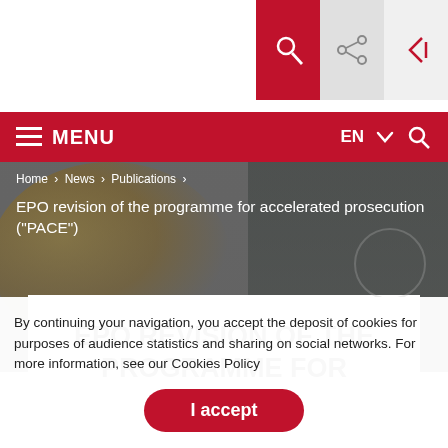[Figure (screenshot): EPO website header with search/share/login icons on top right, red navigation bar with MENU and EN language selector, and hero image background with golden instrument]
MENU   EN ▾ 🔍
Home > News > Publications > EPO revision of the programme for accelerated prosecution ("PACE")
EPO REVISION OF THE PROGRAMME FOR
By continuing your navigation, you accept the deposit of cookies for purposes of audience statistics and sharing on social networks. For more information, see our Cookies Policy
I accept